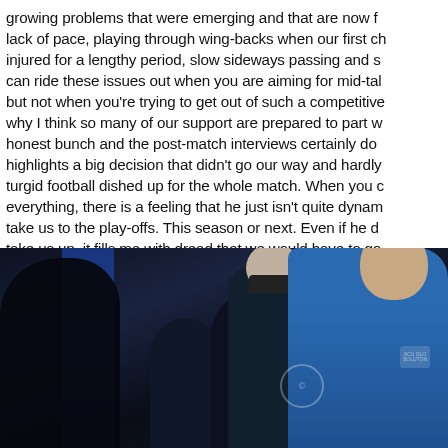growing problems that were emerging and that are now f... lack of pace, playing through wing-backs when our first ch... injured for a lengthy period, slow sideways passing and s... can ride these issues out when you are aiming for mid-ta... but not when you're trying to get out of such a competitive... why I think so many of our support are prepared to part w... honest bunch and the post-match interviews certainly do... highlights a big decision that didn't go our way and hardly... turgid football dished up for the whole match. When you d... everything, there is a feeling that he just isn't quite dynam... take us to the play-offs. This season or next. Even if he d... take us up, it fills me with dread that we would have to go... the Etihad or Anfield and set up for some kind of respecta... our results would read like the current England Test Team
[Figure (photo): Dark stadium or dugout scene with multiple figures. On the right, a bald man wearing a light blue jacket (likely a football manager) stands prominently. Behind him and to the left are other darker-clothed figures. The background is very dark with a blue vertical panel visible.]